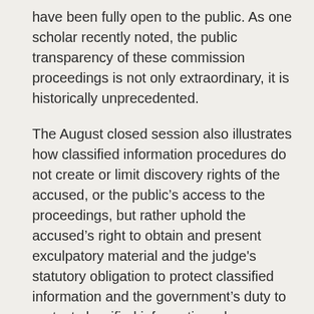have been fully open to the public. As one scholar recently noted, the public transparency of these commission proceedings is not only extraordinary, it is historically unprecedented.
The August closed session also illustrates how classified information procedures do not create or limit discovery rights of the accused, or the public's access to the proceedings, but rather uphold the accused's right to obtain and present exculpatory material and the judge's statutory obligation to protect classified information and the government's duty to protect classified information when disclosure of that information would harm national security. Please note that regarding both hearings and sessions, courts, including this Commission, have held that no rights of an accused are violated when he is absent from a proceeding where he is unable to